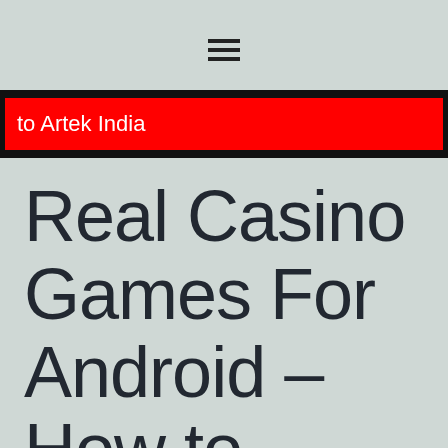☰
to Artek India
Real Casino Games For Android – How to make